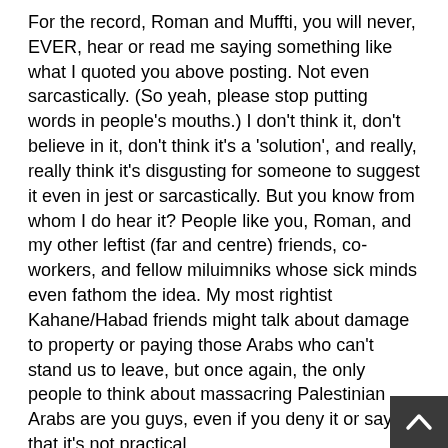For the record, Roman and Muffti, you will never, EVER, hear or read me saying something like what I quoted you above posting. Not even sarcastically. (So yeah, please stop putting words in people's mouths.) I don't think it, don't believe in it, don't think it's a 'solution', and really, really think it's disgusting for someone to suggest it even in jest or sarcastically. But you know from whom I do hear it? People like you, Roman, and my other leftist (far and centre) friends, co-workers, and fellow miluimniks whose sick minds even fathom the idea. My most rightist Kahane/Habad friends might talk about damage to property or paying those Arabs who can't stand us to leave, but once again, the only people to think about massacring Palestinian Arabs are you guys, even if you deny it or say that it's not practical.
Roman says: Moreover, the only way to stop the entire people, short of satisfying its needs, is complete destruction. FWIW, and your sick mind (you only claim that destroying them won't happen soon, not that it's preposturously horrible), this genocide you suggest